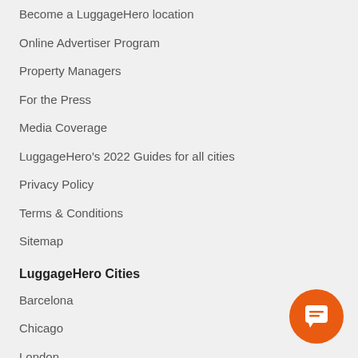Become a LuggageHero location
Online Advertiser Program
Property Managers
For the Press
Media Coverage
LuggageHero's 2022 Guides for all cities
Privacy Policy
Terms & Conditions
Sitemap
LuggageHero Cities
Barcelona
Chicago
London
New York City
Paris